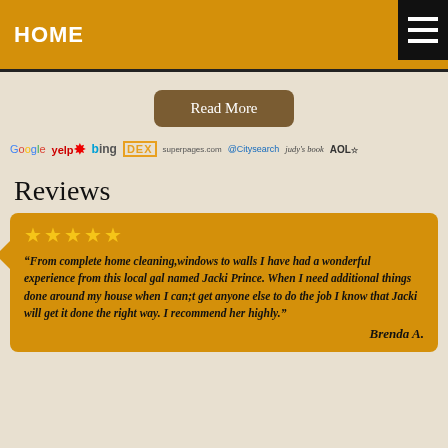HOME
Read More
[Figure (logo): Row of directory/review site logos: Google, yelp, bing, DEX, superpages.com, @Citysearch, judy's book, AOL]
Reviews
“From complete home cleaning,windows to walls I have had a wonderful experience from this local gal named Jacki Prince. When I need additional things done around my house when I can;t get anyone else to do the job I know that Jacki will get it done the right way. I recommend her highly.”

Brenda A.